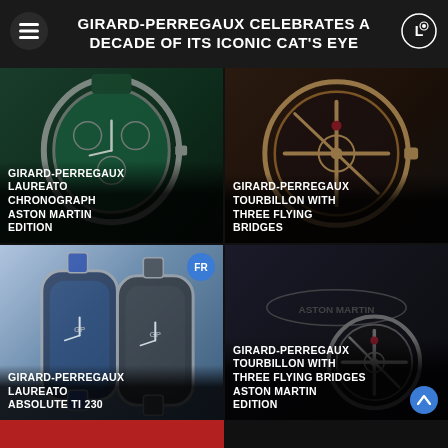GIRARD-PERREGAUX CELEBRATES A DECADE OF ITS ICONIC CAT'S EYE
[Figure (photo): Girard-Perregaux Laureato Chronograph Aston Martin Edition watch with green dial]
GIRARD-PERREGAUX LAUREATO CHRONOGRAPH ASTON MARTIN EDITION
[Figure (photo): Girard-Perregaux Tourbillon With Three Flying Bridges watch with skeleton dial in rose gold]
GIRARD-PERREGAUX TOURBILLON WITH THREE FLYING BRIDGES
[Figure (photo): Girard-Perregaux Laureato Absolute Ti 230 watches in blue and grey]
GIRARD-PERREGAUX LAUREATO ABSOLUTE TI 230
[Figure (photo): Girard-Perregaux Tourbillon With Three Flying Bridges Aston Martin Edition watch on dark surface with Aston Martin logo]
GIRARD-PERREGAUX TOURBILLON WITH THREE FLYING BRIDGES ASTON MARTIN EDITION